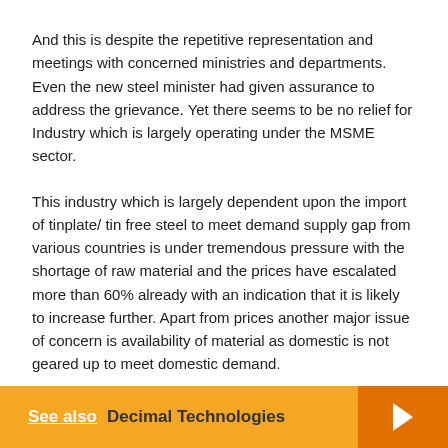And this is despite the repetitive representation and meetings with concerned ministries and departments. Even the new steel minister had given assurance to address the grievance. Yet there seems to be no relief for Industry which is largely operating under the MSME sector.
This industry which is largely dependent upon the import of tinplate/ tin free steel to meet demand supply gap from various countries is under tremendous pressure with the shortage of raw material and the prices have escalated more than 60% already with an indication that it is likely to increase further. Apart from prices another major issue of concern is availability of material as domestic is not geared up to meet domestic demand.
See also  Decimal Technologies